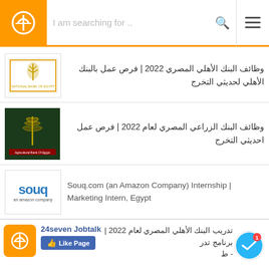[Figure (screenshot): Mobile app navigation bar with orange logo, search bar 'I am searching for ...' and hamburger menu icon]
وظائف البنك الأهلي المصري 2022 | فرص عمل بالبنك الأهلي لحديثي التخرج
وظائف البنك الزراعي المصري لعام 2022 | فرص عمل احديثي التخرج
Souq.com (an Amazon Company) Internship | Marketing Intern, Egypt
تدريب البنك الأهلي المصري لعام 2022 | برنامج تدر - ط